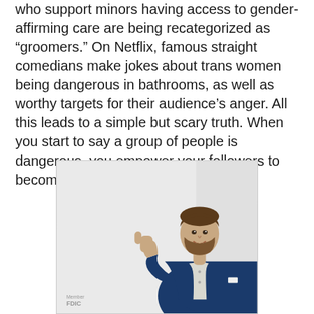who support minors having access to gender-affirming care are being recategorized as “groomers.” On Netflix, famous straight comedians make jokes about trans women being dangerous in bathrooms, as well as worthy targets for their audience’s anger. All this leads to a simple but scary truth. When you start to say a group of people is dangerous, you empower your followers to become dangerous to them.”
[Figure (photo): A smiling man with short brown hair and a beard, wearing a navy blue suit jacket over a white collared shirt, giving a thumbs up gesture. The background is light gray/white. A 'Member FDIC' watermark appears in the bottom left corner.]